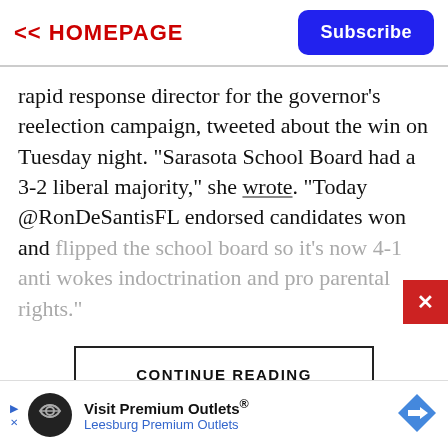<< HOMEPAGE  Subscribe
rapid response director for the governor's reelection campaign, tweeted about the win on Tuesday night. "Sarasota School Board had a 3-2 liberal majority," she wrote. "Today @RonDeSantisFL endorsed candidates won and flipped the school board so it's now 4-1 anti wokes indoctrination and pro parental rights."
CONTINUE READING
[Figure (screenshot): Red X close button on right side]
[Figure (infographic): Advertisement banner: Visit Premium Outlets® Leesburg Premium Outlets with logo and navigation arrow]